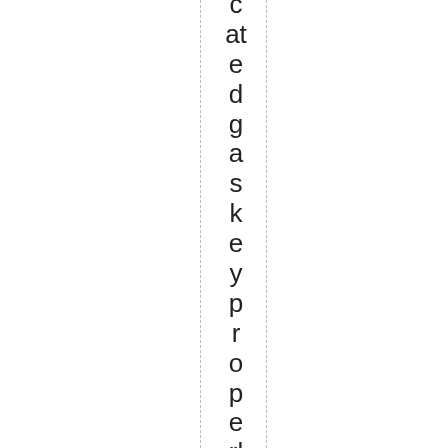c at e d g a s k e y p r o p e r l y st a k e d w it h g